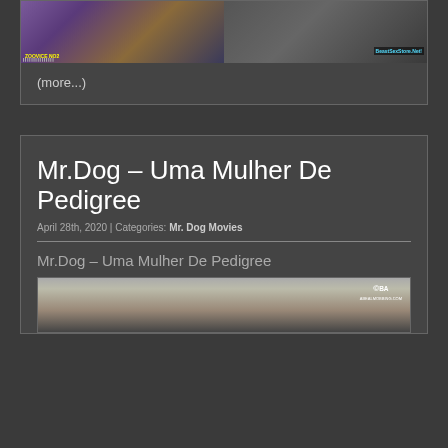[Figure (screenshot): Top portion of a website card showing two preview images side by side]
(more...)
Mr.Dog – Uma Mulher De Pedigree
April 28th, 2020 | Categories: Mr. Dog Movies
Mr.Dog – Uma Mulher De Pedigree
[Figure (photo): Partial thumbnail image with ©BA watermark]